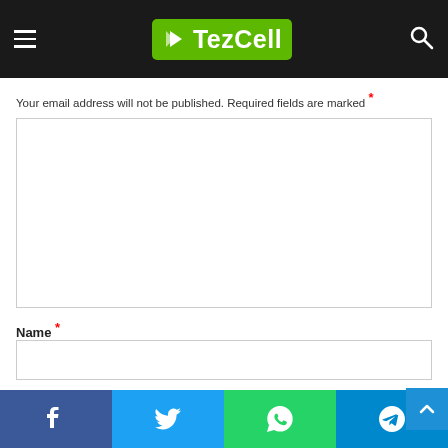TezCell
Your email address will not be published. Required fields are marked *
Name *
Email *